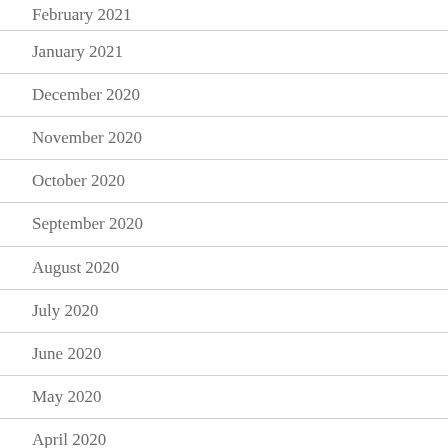February 2021
January 2021
December 2020
November 2020
October 2020
September 2020
August 2020
July 2020
June 2020
May 2020
April 2020
March 2020